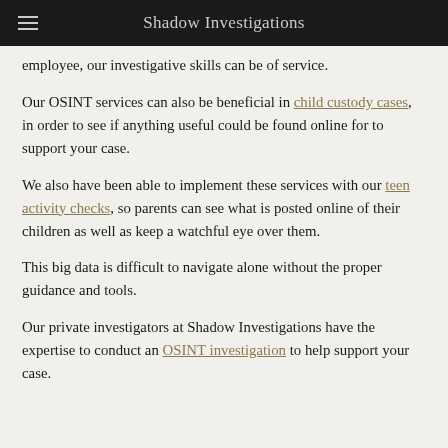Shadow Investigations
employee, our investigative skills can be of service.
Our OSINT services can also be beneficial in child custody cases, in order to see if anything useful could be found online for to support your case.
We also have been able to implement these services with our teen activity checks, so parents can see what is posted online of their children as well as keep a watchful eye over them.
This big data is difficult to navigate alone without the proper guidance and tools.
Our private investigators at Shadow Investigations have the expertise to conduct an OSINT investigation to help support your case.